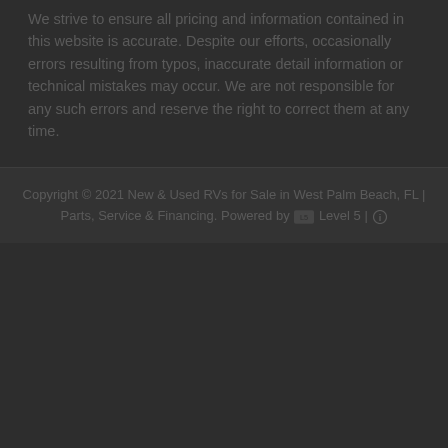We strive to ensure all pricing and information contained in this website is accurate. Despite our efforts, occasionally errors resulting from typos, inaccurate detail information or technical mistakes may occur. We are not responsible for any such errors and reserve the right to correct them at any time.
Copyright © 2021 New & Used RVs for Sale in West Palm Beach, FL | Parts, Service & Financing. Powered by Level 5 | ℹ